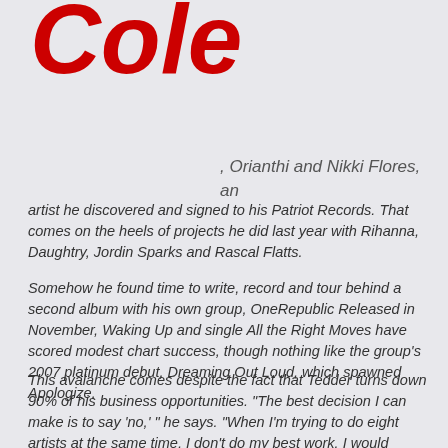Cole
, Orianthi and Nikki Flores, an artist he discovered and signed to his Patriot Records. That comes on the heels of projects he did last year with Rihanna, Daughtry, Jordin Sparks and Rascal Flatts.
Somehow he found time to write, record and tour behind a second album with his own group, OneRepublic Released in November, Waking Up and single All the Right Moves have scored modest chart success, though nothing like the group's 2007 platinum debut, Dreaming Out Loud, which spawned Apologize.
This avalanche comes despite the fact that Tedder turns down 90% of his business opportunities. "The best decision I can make is to say 'no,' " he says. "When I'm trying to do eight artists at the same time, I don't do my best work. I would rather put out two year-defining songs a year than flood the market with eight or nine songs."
Since becoming the go-to guy over the past few years in R&B, country and pop, he has discovered that "some of the best songs come when I'm not trying to get on anybody's album. I just sit down at the piano and write because I like writing. Honest to God, I would do it for free."